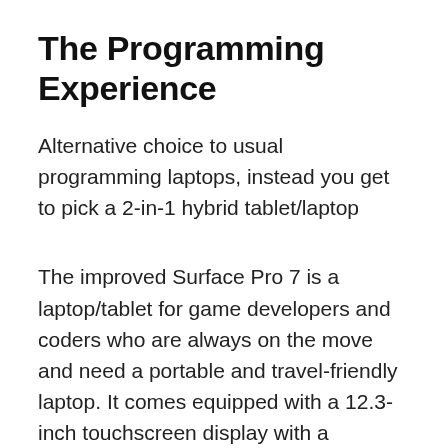The Programming Experience
Alternative choice to usual programming laptops, instead you get to pick a 2-in-1 hybrid tablet/laptop
The improved Surface Pro 7 is a laptop/tablet for game developers and coders who are always on the move and need a portable and travel-friendly laptop. It comes equipped with a 12.3-inch touchscreen display with a resolution of